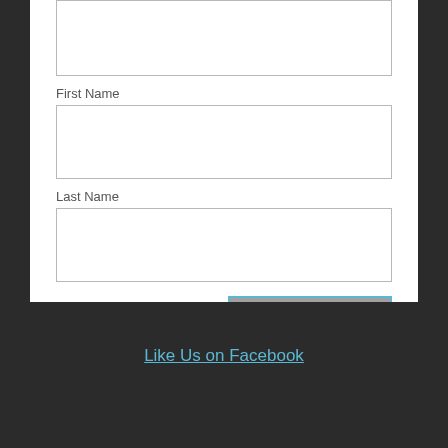First Name
Last Name
SUBSCRIBE
Like Us on Facebook
Follow us on Twitter